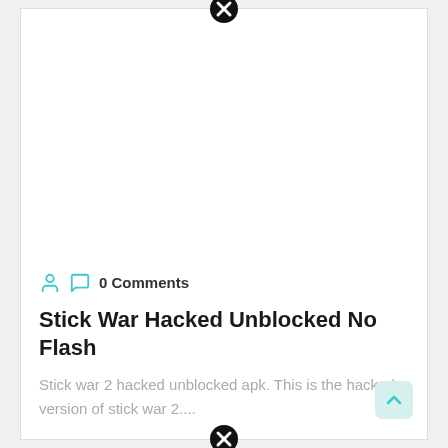[Figure (other): Close/dismiss button (black circle with white X) at top center of ad overlay]
0 Comments
Stick War Hacked Unblocked No Flash
Stick war 2 hacked unblocked apk. This is the hacked version of stick war 2....
[Figure (other): Close/dismiss button (black circle with white X) at bottom center of ad overlay]
[Figure (other): Scroll-to-top button (light teal/cyan rounded square with upward arrow) at bottom right]